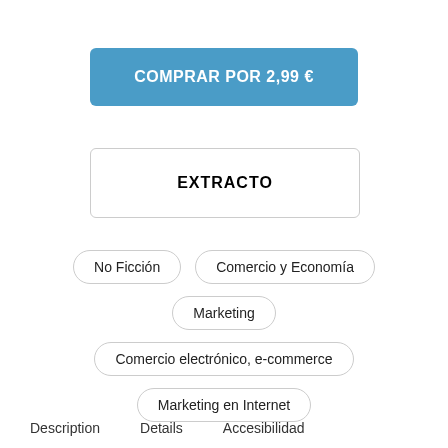COMPRAR POR 2,99 €
EXTRACTO
No Ficción
Comercio y Economía
Marketing
Comercio electrónico, e-commerce
Marketing en Internet
Description   Details   Accesibilidad